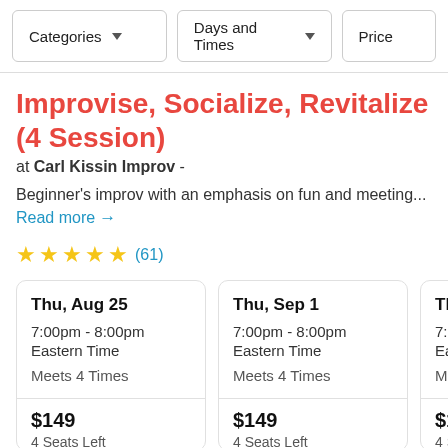Categories | Days and Times | Price
Improvise, Socialize, Revitalize (4 Session)
at Carl Kissin Improv -
Beginner's improv with an emphasis on fun and meeting...
Read more →
★★★★★ (61)
| Date | Time | Timezone | Meets | Price | Seats |
| --- | --- | --- | --- | --- | --- |
| Thu, Aug 25 | 7:00pm - 8:00pm | Eastern Time | Meets 4 Times | $149 | 4 Seats Left |
| Thu, Sep 1 | 7:00pm - 8:00pm | Eastern Time | Meets 4 Times | $149 | 4 Seats Left |
| Thu, Sep | 7:00pm - | Eastern T | Meets 4 T | $149 | 4 Seats L |